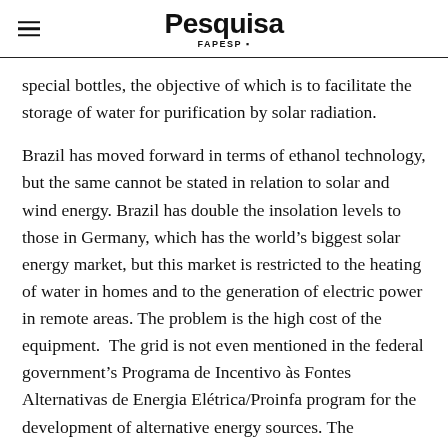Pesquisa FAPESP
special bottles, the objective of which is to facilitate the storage of water for purification by solar radiation.
Brazil has moved forward in terms of ethanol technology, but the same cannot be stated in relation to solar and wind energy. Brazil has double the insolation levels to those in Germany, which has the world’s biggest solar energy market, but this market is restricted to the heating of water in homes and to the generation of electric power in remote areas. The problem is the high cost of the equipment.  The grid is not even mentioned in the federal government’s Programa de Incentivo às Fontes Alternativas de Energia Elétrica/Proinfa program for the development of alternative energy sources. The